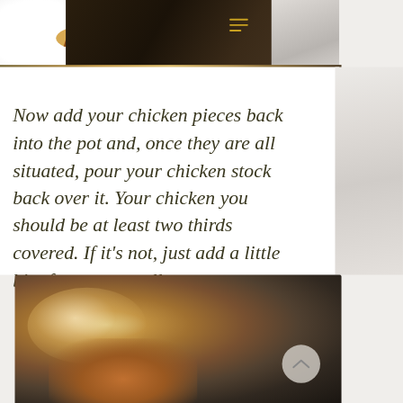[Figure (photo): Food photo showing a slice of caramel tart on a white plate with caramel sauce, on a wooden background. Top-left portion of the page. Includes a hamburger menu icon in gold/yellow on the dark right section.]
Now add your chicken pieces back into the pot and, once they are all situated, pour your chicken stock back over it. Your chicken you should be at least two thirds covered. If it’s not, just add a little bit of water as well.
[Figure (photo): Blurred cooking photo showing warm amber/brown tones, likely a pot with chicken pieces. A circular back-to-top button with a caret/chevron icon is overlaid on the lower right of the image.]
[Figure (infographic): Social media icon bar with four icons: email (envelope, pink/red), Facebook (f, blue), Instagram (camera outline, black), Pinterest (P, red).]